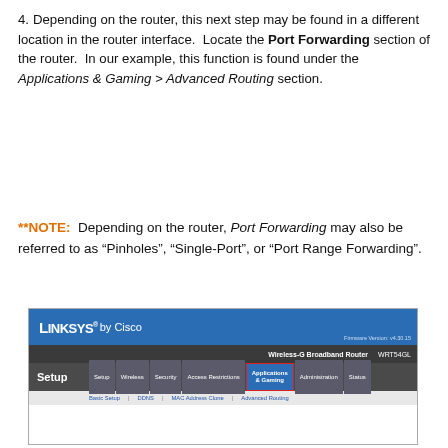4. Depending on the router, this next step may be found in a different location in the router interface.  Locate the Port Forwarding section of the router.  In our example, this function is found under the Applications & Gaming > Advanced Routing section.
**NOTE:  Depending on the router, Port Forwarding may also be referred to as “Pinholes”, “Single-Port”, or “Port Range Forwarding”.
[Figure (screenshot): Linksys by Cisco router admin interface screenshot showing the Applications & Gaming tab highlighted with a red border in the navigation menu. Shows Setup section with tabs: Setup, Wireless, Security, Access Restrictions, Applications & Gaming (highlighted), Administration, Status. Sub-navigation shows Basic Setup, DDNS, MAC Address Clone, Advanced Routing.]